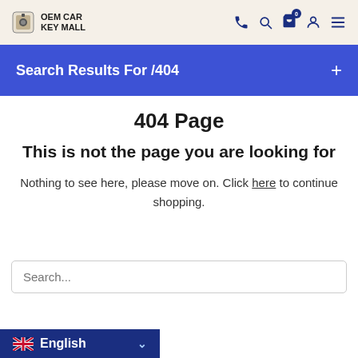OEM CAR KEY MALL
Search Results For /404
404 Page
This is not the page you are looking for
Nothing to see here, please move on. Click here to continue shopping.
Search...
English